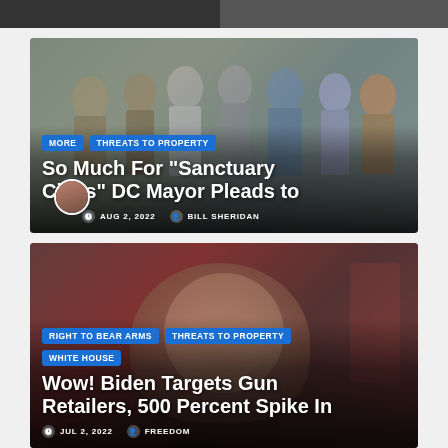[Figure (photo): Top strip showing partial faces/images from previous article]
[Figure (photo): News article card with group of people outdoors, tags MORE and THREATS TO PROPERTY, headline about Sanctuary Cities DC Mayor, dated AUG 2 2022, by BILL SHERIDAN]
[Figure (photo): News article card with dark red/brown background showing person, tags RIGHT TO BEAR ARMS, THREATS TO PROPERTY, WHITE HOUSE, headline about Biden targeting gun retailers 500 percent spike]